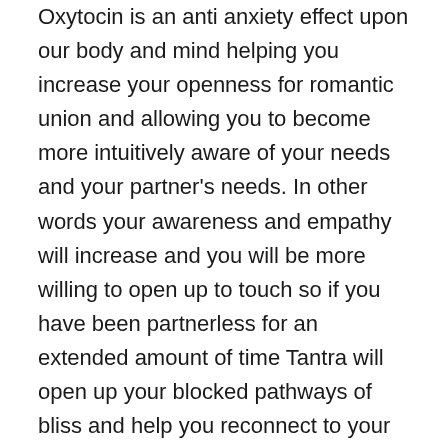Oxytocin is an anti anxiety effect upon our body and mind helping you increase your openness for romantic union and allowing you to become more intuitively aware of your needs and your partner's needs. In other words your awareness and empathy will increase and you will be more willing to open up to touch so if you have been partnerless for an extended amount of time Tantra will open up your blocked pathways of bliss and help you reconnect to your sensual feelings.
Oxytocin also protects your intestinal lining from damage and with continued sessions in Tantra you will notice a huge improvement in your third chakra which rules your digestive tract. If you suffer from stomach pain for instance and your are not receiving enough positive and healing touch Tantra Massage will increase your doses of Oxytocin and help heal your gut lining so the mental and physical